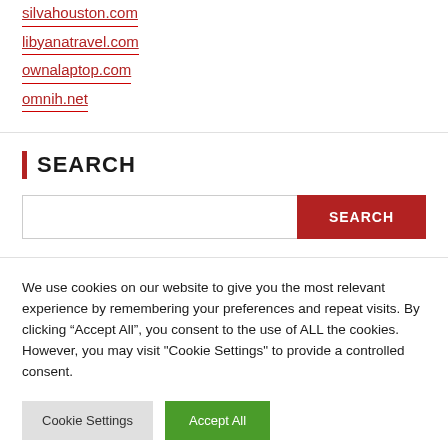silvahouston.com
libyanatravel.com
ownalaptop.com
omnih.net
SEARCH
We use cookies on our website to give you the most relevant experience by remembering your preferences and repeat visits. By clicking “Accept All”, you consent to the use of ALL the cookies. However, you may visit "Cookie Settings" to provide a controlled consent.
Cookie Settings | Accept All